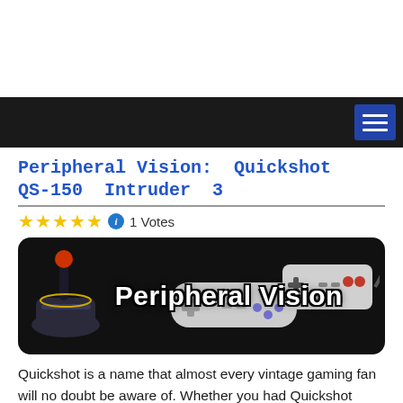[Figure (screenshot): White top area (advertisement space)]
Navigation bar with hamburger menu icon
Peripheral Vision: Quickshot QS-150 Intruder 3
[Figure (infographic): Star rating: 5 stars, info icon, 1 Votes]
[Figure (photo): Peripheral Vision banner with gaming controllers on black background]
Quickshot is a name that almost every vintage gaming fan will no doubt be aware of. Whether you had Quickshot peripherals, knew someone who did or are just getting into collecting and find them almost everywhere, Quickshot still seems to be a third party brand